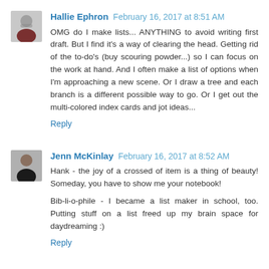Hallie Ephron  February 16, 2017 at 8:51 AM
OMG do I make lists... ANYTHING to avoid writing first draft. But I find it's a way of clearing the head. Getting rid of the to-do's (buy scouring powder...) so I can focus on the work at hand. And I often make a list of options when I'm approaching a new scene. Or I draw a tree and each branch is a different possible way to go. Or I get out the multi-colored index cards and jot ideas...
Reply
Jenn McKinlay  February 16, 2017 at 8:52 AM
Hank - the joy of a crossed of item is a thing of beauty! Someday, you have to show me your notebook!

Bib-li-o-phile - I became a list maker in school, too. Putting stuff on a list freed up my brain space for daydreaming :)
Reply